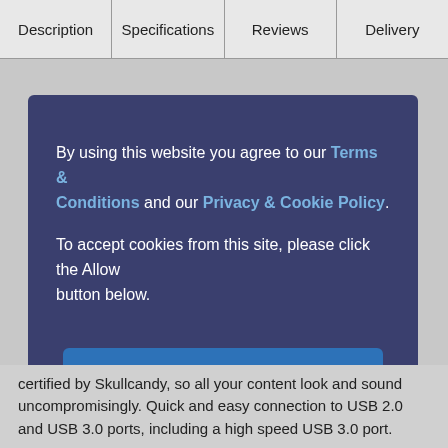Description | Specifications | Reviews | Delivery
By using this website you agree to our Terms & Conditions and our Privacy & Cookie Policy.

To accept cookies from this site, please click the Allow button below.
Allow
certified by Skullcandy, so all your content look and sound uncompromisingly. Quick and easy connection to USB 2.0 and USB 3.0 ports, including a high speed USB 3.0 port.